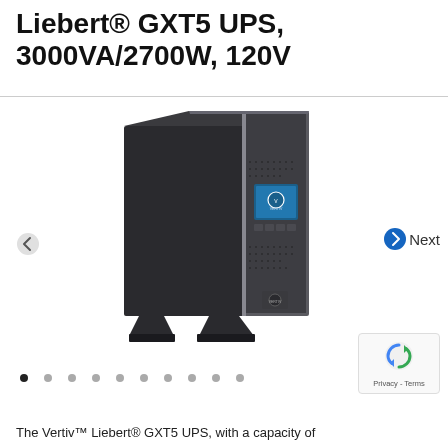Liebert® GXT5 UPS, 3000VA/2700W, 120V
[Figure (photo): Product photo of the Liebert GXT5 UPS unit shown in tower/rack orientation. The unit is dark charcoal/black with a silver/gray front bezel, mesh ventilation panels, a small LCD display screen, and the Vertiv logo. The UPS stands on pedestal feet and has a compact 2U rack form factor.]
The Vertiv™ Liebert® GXT5 UPS, with a capacity of